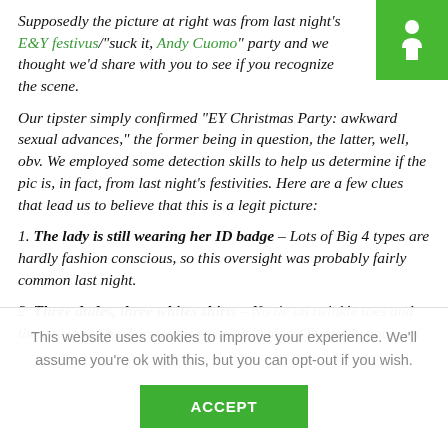Supposedly the picture at right was from last night's E&Y festivus/"suck it, Andy Cuomo" party and we thought we'd share with you to see if you recognize the scene.
[Figure (logo): Green square badge with a white accessibility/person icon]
Our tipster simply confirmed "EY Christmas Party: awkward sexual advances," the former being in question, the latter, well, obv. We employed some detection skills to help us determine if the pic is, in fact, from last night's festivities. Here are a few clues that lead us to believe that this is a legit picture:
1. The lady is still wearing her ID badge – Lots of Big 4 types are hardly fashion conscious, so this oversight was probably fairly common last night.
2. Three dudes, three whites shirts – No tie on twinkle toes and the guy in the background is wearing khakis. Obviously not front
This website uses cookies to improve your experience. We'll assume you're ok with this, but you can opt-out if you wish.